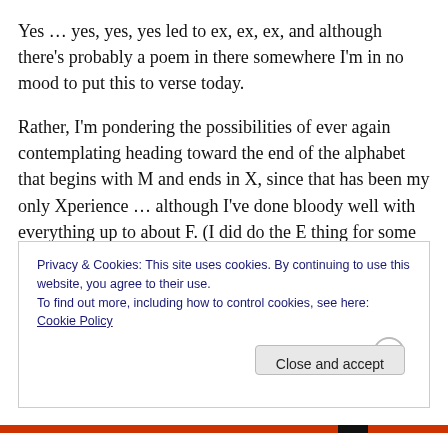Yes … yes, yes, yes led to ex, ex, ex, and although there's probably a poem in there somewhere I'm in no mood to put this to verse today.
Rather, I'm pondering the possibilities of ever again contemplating heading toward the end of the alphabet that begins with M and ends in X, since that has been my only Xperience … although I've done bloody well with everything up to about F. (I did do the E thing for some
Privacy & Cookies: This site uses cookies. By continuing to use this website, you agree to their use.
To find out more, including how to control cookies, see here: Cookie Policy
Close and accept